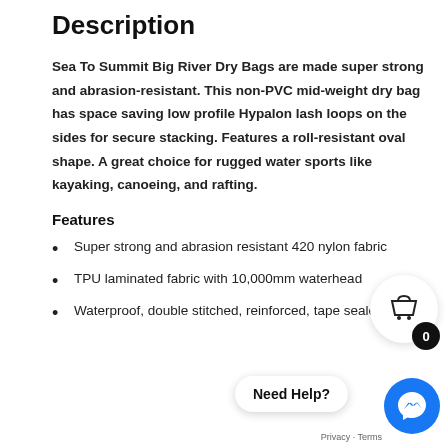Description
Sea To Summit Big River Dry Bags are made super strong and abrasion-resistant. This non-PVC mid-weight dry bag has space saving low profile Hypalon lash loops on the sides for secure stacking. Features a roll-resistant oval shape. A great choice for rugged water sports like kayaking, canoeing, and rafting.
Features
Super strong and abrasion resistant 420 nylon fabric
TPU laminated fabric with 10,000mm waterhead
Waterproof, double stitched, reinforced, tape sealed seams